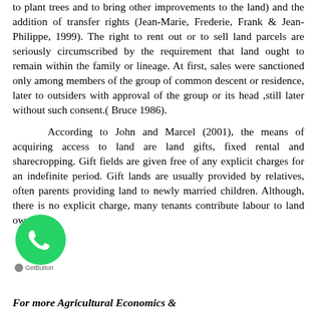to plant trees and to bring other improvements to the land) and the addition of transfer rights (Jean-Marie, Frederie, Frank & Jean- Philippe, 1999). The right to rent out or to sell land parcels are seriously circumscribed by the requirement that land ought to remain within the family or lineage. At first, sales were sanctioned only among members of the group of common descent or residence, later to outsiders with approval of the group or its head ,still later without such consent.( Bruce 1986).
According to John and Marcel (2001), the means of acquiring access to land are land gifts, fixed rental and sharecropping. Gift fields are given free of any explicit charges for an indefinite period. Gift lands are usually provided by relatives, often parents providing land to newly married children. Although, there is no explicit charge, many tenants contribute labour to land owner.....
[Figure (logo): WhatsApp chat button icon (green circle with phone/WhatsApp logo) overlaid on text, with GetButton.io label beneath]
For more Agricultural Economics &